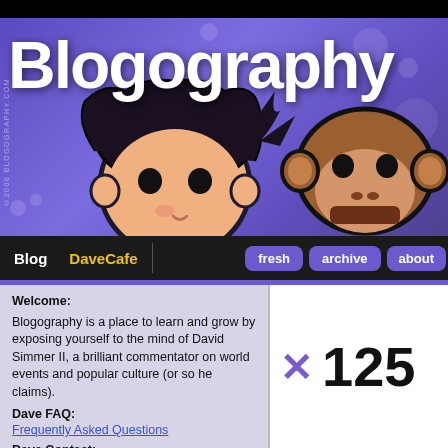[Figure (illustration): Blogography website header banner with purple background, grunge-style white 'Blogography' logo text, cartoon character of a boy with black hair and a monkey face on right, with paint splatter decorations and a small vertical copyright text on the left side]
Blog | DaveCafe | fresh | archive | about
Welcome:
Blogography is a place to learn and grow by exposing yourself to the mind of David Simmer II, a brilliant commentator on world events and popular culture (or so he claims).
Dave FAQ:
Frequently Asked Questions
Dave Contact:
dave@blogography.com
× 125